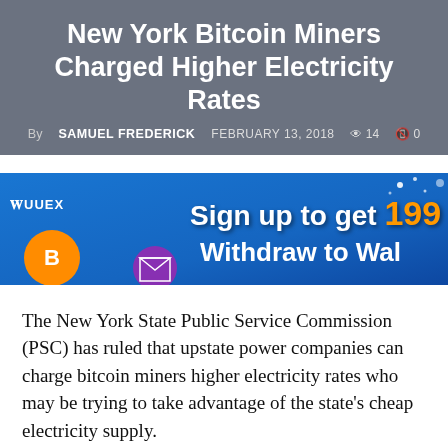New York Bitcoin Miners Charged Higher Electricity Rates
By SAMUEL FREDERICK   FEBRUARY 13, 2018   👁 14   🔔 0
[Figure (screenshot): UUEX advertisement banner: 'Sign up to get 199% Withdraw to Wal...' on blue background with orange/white text and coin graphics]
The New York State Public Service Commission (PSC) has ruled that upstate power companies can charge bitcoin miners higher electricity rates who may be trying to take advantage of the state's cheap electricity supply.